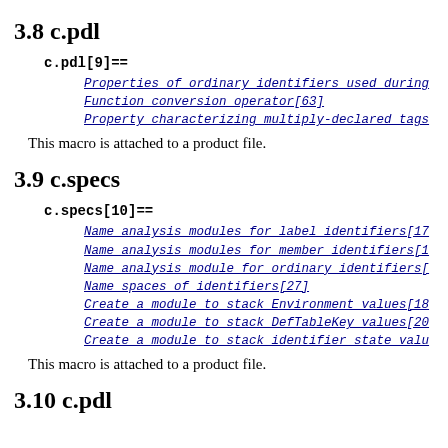3.8 c.pdl
c.pdl[9]==
Properties of ordinary identifiers used during
Function conversion operator[63]
Property characterizing multiply-declared tags
This macro is attached to a product file.
3.9 c.specs
c.specs[10]==
Name analysis modules for label identifiers[17
Name analysis modules for member identifiers[1
Name analysis module for ordinary identifiers[
Name spaces of identifiers[27]
Create a module to stack Environment values[18
Create a module to stack DefTableKey values[20
Create a module to stack identifier state valu
This macro is attached to a product file.
3.10 c.pdl